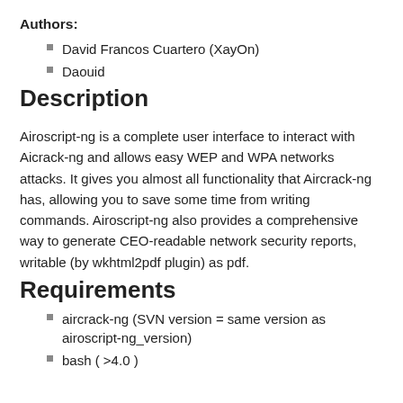Authors:
David Francos Cuartero (XayOn)
Daouid
Description
Airoscript-ng is a complete user interface to interact with Aicrack-ng and allows easy WEP and WPA networks attacks. It gives you almost all functionality that Aircrack-ng has, allowing you to save some time from writing commands. Airoscript-ng also provides a comprehensive way to generate CEO-readable network security reports, writable (by wkhtml2pdf plugin) as pdf.
Requirements
aircrack-ng (SVN version = same version as airoscript-ng_version)
bash ( >4.0 )